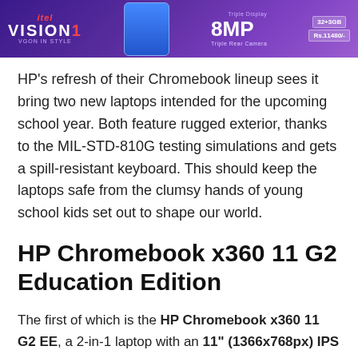[Figure (photo): Advertisement banner for itel Vision 1 smartphone showing the phone image, 8MP Triple Rear Camera text, 32+3GB RAM, Rs.11480/- price in a purple gradient background]
HP's refresh of their Chromebook lineup sees it bring two new laptops intended for the upcoming school year. Both feature rugged exterior, thanks to the MIL-STD-810G testing simulations and gets a spill-resistant keyboard. This should keep the laptops safe from the clumsy hands of young school kids set out to shape our world.
HP Chromebook x360 11 G2 Education Edition
The first of which is the HP Chromebook x360 11 G2 EE, a 2-in-1 laptop with an 11" (1366x768px) IPS touch display with Wacom EMR pen support. Powering the laptop is a dual-core Celeron N4000 processor or a slightly powerful Quad Core Celeron N4100. Both processors are accompanied by their...